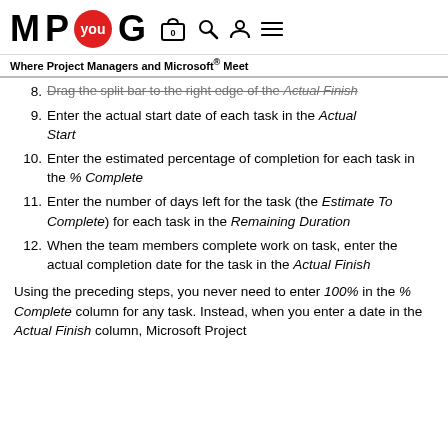M P you G  [cart 0] [search] [user] [menu]  Where Project Managers and Microsoft® Meet
8. Drag the split bar to the right edge of the Actual Finish
9. Enter the actual start date of each task in the Actual Start
10. Enter the estimated percentage of completion for each task in the % Complete
11. Enter the number of days left for the task (the Estimate To Complete) for each task in the Remaining Duration
12. When the team members complete work on task, enter the actual completion date for the task in the Actual Finish
Using the preceding steps, you never need to enter 100% in the % Complete column for any task. Instead, when you enter a date in the Actual Finish column, Microsoft Project